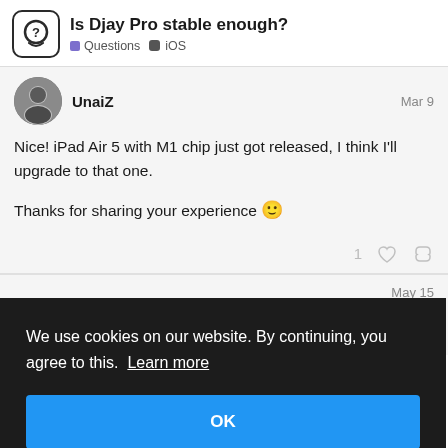Is Djay Pro stable enough? Questions iOS
UnaiZ
Mar 9
Nice! iPad Air 5 with M1 chip just got released, I think I'll upgrade to that one.

Thanks for sharing your experience 🙂
May 15
...? I've just
We use cookies on our website. By continuing, you agree to this. Learn more
OK